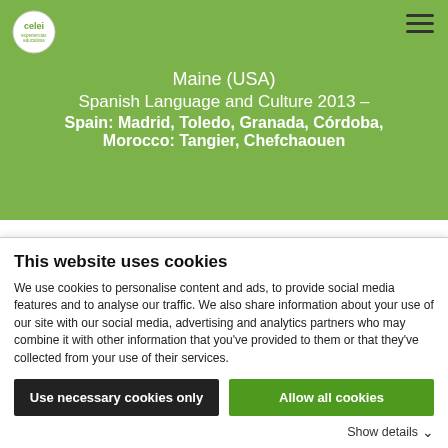Maine (USA)
Spanish Language and Culture 2013 – Spain: Madrid, Toledo, Granada, Córdoba, Morocco: Tangier, Chefchaouen
“You look at the people who are teaching you, you look at their lives and you can really tell that this is going to be a special place, this is going to be a special experience and program that you just
This website uses cookies
We use cookies to personalise content and ads, to provide social media features and to analyse our traffic. We also share information about your use of our site with our social media, advertising and analytics partners who may combine it with other information that you’ve provided to them or that they’ve collected from your use of their services.
Use necessary cookies only | Allow all cookies
Show details